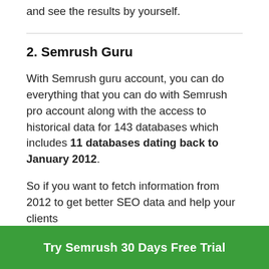and see the results by yourself.
2. Semrush Guru
With Semrush guru account, you can do everything that you can do with Semrush pro account along with the access to historical data for 143 databases which includes 11 databases dating back to January 2012.
So if you want to fetch information from 2012 to get better SEO data and help your clients
Try Semrush 30 Days Free Trial